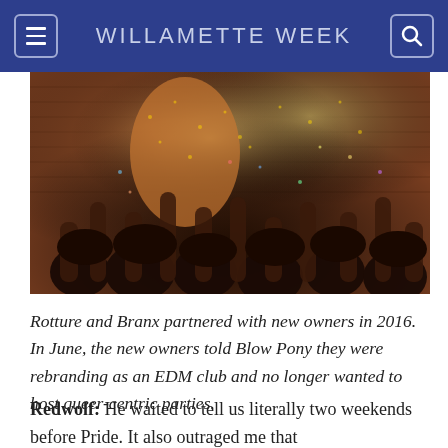WILLAMETTE WEEK
[Figure (photo): A performer covered in glitter stands above a crowd with raised hands reaching up, confetti filling the air, against a red brick wall background at a party or club event.]
Rotture and Branx partnered with new owners in 2016. In June, the new owners told Blow Pony they were rebranding as an EDM club and no longer wanted to host queer-centric parties.
Redwolf: He waited to tell us literally two weekends before Pride. It also outraged me that